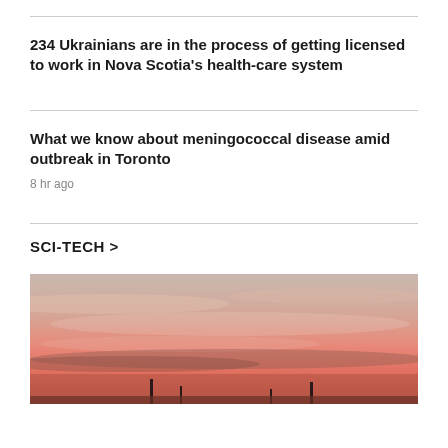234 Ukrainians are in the process of getting licensed to work in Nova Scotia's health-care system
What we know about meningococcal disease amid outbreak in Toronto
8 hr ago
SCI-TECH >
[Figure (photo): Sunset sky with warm pink and orange tones, silhouettes of structures visible at bottom]